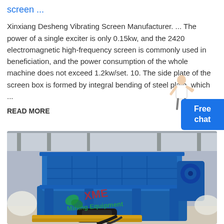screen ...
Xinxiang Desheng Vibrating Screen Manufacturer. ... The power of a single exciter is only 0.15kw, and the 2420 electromagnetic high-frequency screen is commonly used in beneficiation, and the power consumption of the whole machine does not exceed 1.2kw/set. 10. The side plate of the screen box is formed by integral bending of steel plate, which ...
READ MORE
[Figure (photo): Large blue industrial vibrating screen machine with XME Mining Equipment watermark, photographed in a factory/warehouse setting. The machine is heavy blue industrial equipment with yellow accents and black motor components visible at the bottom.]